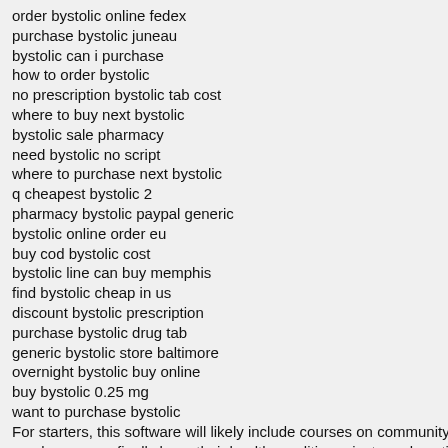order bystolic online fedex
purchase bystolic juneau
bystolic can i purchase
how to order bystolic
no prescription bystolic tab cost
where to buy next bystolic
bystolic sale pharmacy
need bystolic no script
where to purchase next bystolic
q cheapest bystolic 2
pharmacy bystolic paypal generic
bystolic online order eu
buy cod bystolic cost
bystolic line can buy memphis
find bystolic cheap in us
discount bystolic prescription
purchase bystolic drug tab
generic bystolic store baltimore
overnight bystolic buy online
buy bystolic 0.25 mg
want to purchase bystolic
For starters, this software will likely include courses on community en...
employees can finally keep their health condition private and continue...
Many independent pharmacies offer home overall health care aids, in...
The last 8 years all about to be a lot of clinical work. More important...